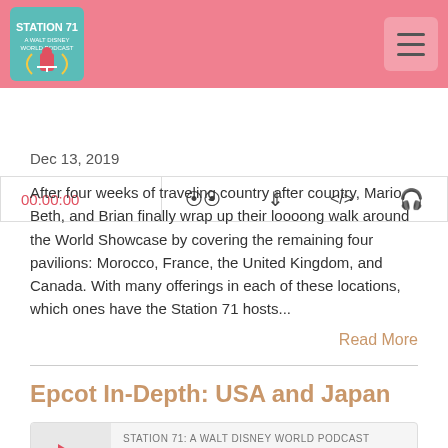Station 71: A Walt Disney World Podcast
[Figure (screenshot): Podcast player bar showing 00:00:00 timestamp and media control icons]
Dec 13, 2019
After four weeks of traveling country after country, Mario, Beth, and Brian finally wrap up their loooong walk around the World Showcase by covering the remaining four pavilions: Morocco, France, the United Kingdom, and Canada. With many offerings in each of these locations, which ones have the Station 71 hosts...
Read More
Epcot In-Depth: USA and Japan
[Figure (screenshot): Podcast player widget for 'Epcot In-Depth: USA and Japan' episode from Station 71: A Walt Disney World Podcast, showing play button and progress bar]